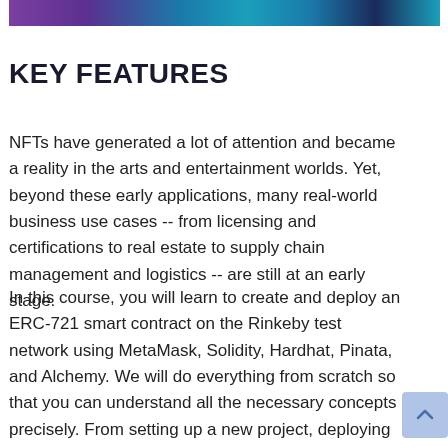[Figure (illustration): Decorative banner image with purple, teal, and dark blue gradient/pattern at the top of the page]
KEY FEATURES
NFTs have generated a lot of attention and became a reality in the arts and entertainment worlds. Yet, beyond these early applications, many real-world business use cases -- from licensing and certifications to real estate to supply chain management and logistics -- are still at an early stage.
In this course, you will learn to create and deploy an ERC-721 smart contract on the Rinkeby test network using MetaMask, Solidity, Hardhat, Pinata, and Alchemy. We will do everything from scratch so that you can understand all the necessary concepts precisely. From setting up a new project, deploying our smart contract, minting our NFT, and then finally listing